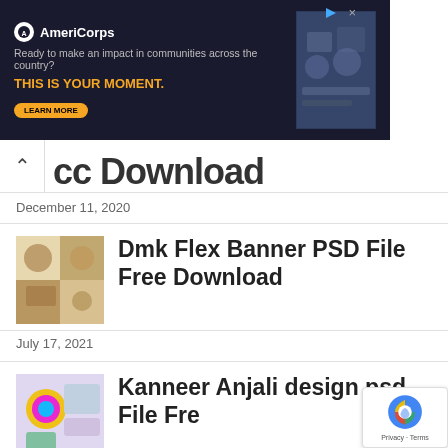[Figure (other): AmeriCorps advertisement banner with dark blue background. Text reads: AmeriCorps logo, 'Ready to make an impact in communities across the country?', 'THIS IS YOUR MOMENT.' in gold, with a 'LEARN MORE' button. Right side shows a photo of people at computers.]
cc Download
December 11, 2020
[Figure (photo): Thumbnail image for Dmk Flex Banner PSD File Free Download - showing DMK party themed flex banner design with portraits]
Dmk Flex Banner PSD File Free Download
July 17, 2021
[Figure (photo): Thumbnail image for Kanneer Anjali design psd File Free Download - colorful design with circular elements]
Kanneer Anjali design psd File Free Download